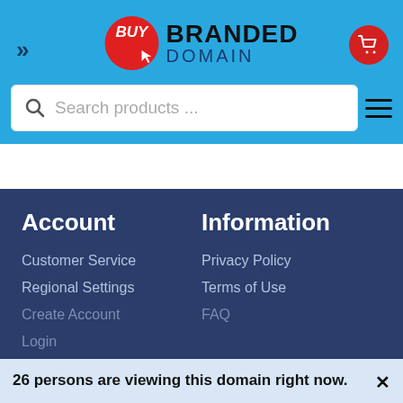BUY BRANDED DOMAIN
[Figure (screenshot): Search bar with magnifying glass icon and placeholder text 'Search products ...' and a hamburger menu icon]
Account
Information
Customer Service
Privacy Policy
Regional Settings
Terms of Use
Create Account
FAQ
Login
26 persons are viewing this domain right now.